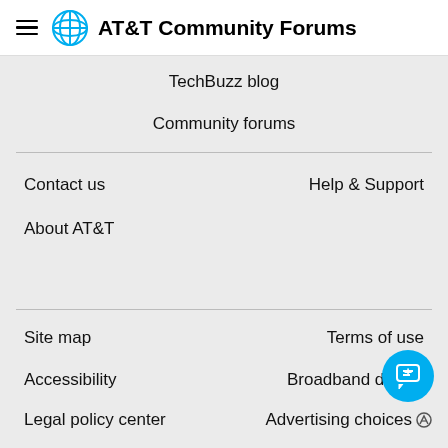AT&T Community Forums
TechBuzz blog
Community forums
Contact us
Help & Support
About AT&T
Site map
Terms of use
Accessibility
Broadband details
Legal policy center
Advertising choices